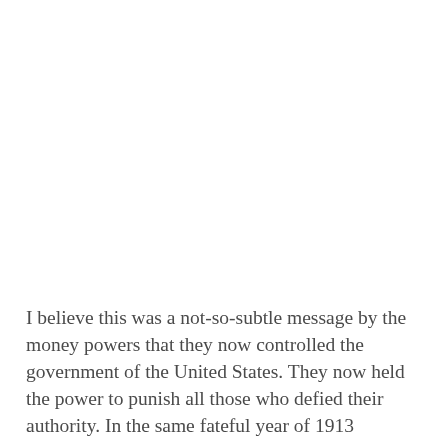I believe this was a not-so-subtle message by the money powers that they now controlled the government of the United States. They now held the power to punish all those who defied their authority. In the same fateful year of 1913